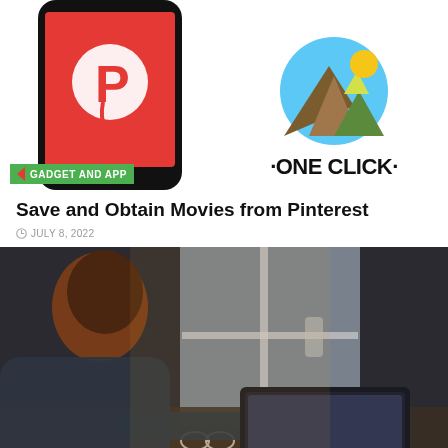[Figure (illustration): Smartphone with red screen and white Pinterest logo, cropped at top]
[Figure (logo): Circular landscape icon with mountains, sun, blue sky — ONE CLICK logo with bullet dots]
Save and Obtain Movies from Pinterest
JULY 8, 2022
[Figure (photo): Woman with auburn hair sitting at a cafe table, typing on a laptop, coffee cup and glasses on table, window in background]